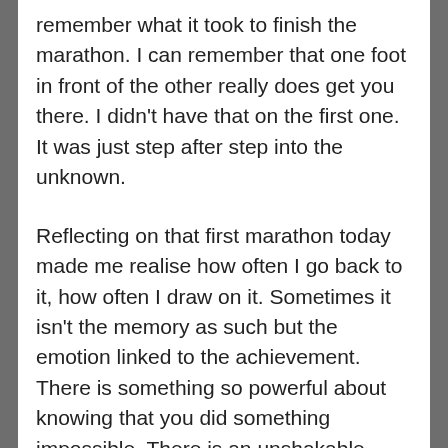remember what it took to finish the marathon. I can remember that one foot in front of the other really does get you there. I didn't have that on the first one. It was just step after step into the unknown.
Reflecting on that first marathon today made me realise how often I go back to it, how often I draw on it. Sometimes it isn't the memory as such but the emotion linked to the achievement. There is something so powerful about knowing that you did something impossible. There is an unshakable calm that comes with knowing that nobody can take that achievement away, that you made a point that wipes out decades of negativity about what your body looks like and can do from others and from yourself. There is something special in knowing that you can just keep going, that it's ok for things to get tough, for things to hurt and for things to seem impossible